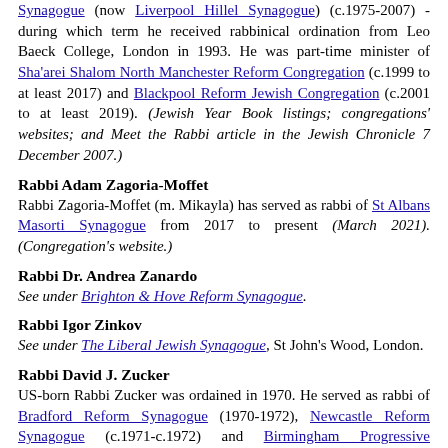Synagogue (now Liverpool Hillel Synagogue) (c.1975-2007) - during which term he received rabbinical ordination from Leo Baeck College, London in 1993. He was part-time minister of Sha'arei Shalom North Manchester Reform Congregation (c.1999 to at least 2017) and Blackpool Reform Jewish Congregation (c.2001 to at least 2019). (Jewish Year Book listings; congregations' websites; and Meet the Rabbi article in the Jewish Chronicle 7 December 2007.)
Rabbi Adam Zagoria-Moffet
Rabbi Zagoria-Moffet (m. Mikayla) has served as rabbi of St Albans Masorti Synagogue from 2017 to present (March 2021). (Congregation's website.)
Rabbi Dr. Andrea Zanardo
See under Brighton & Hove Reform Synagogue.
Rabbi Igor Zinkov
See under The Liberal Jewish Synagogue, St John's Wood, London.
Rabbi David J. Zucker
US-born Rabbi Zucker was ordained in 1970. He served as rabbi of Bradford Reform Synagogue (1970-1972), Newcastle Reform Synagogue (c.1971-c.1972) and Birmingham Progressive Synagogue (1972-1979) before returning to the United States in 1979, where he served